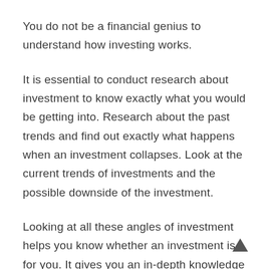You do not be a financial genius to understand how investing works.
It is essential to conduct research about investment to know exactly what you would be getting into. Research about the past trends and find out exactly what happens when an investment collapses. Look at the current trends of investments and the possible downside of the investment.
Looking at all these angles of investment helps you know whether an investment is for you. It gives you an in-depth knowledge of what is